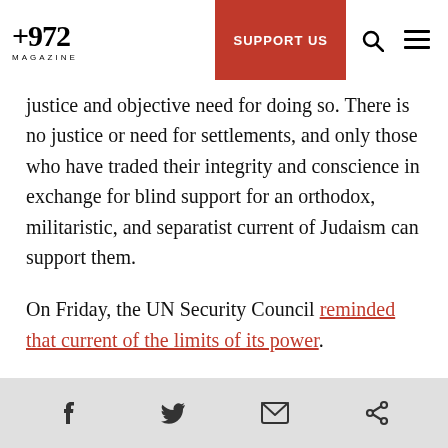+972 MAGAZINE | SUPPORT US
justice and objective need for doing so. There is no justice or need for settlements, and only those who have traded their integrity and conscience in exchange for blind support for an orthodox, militaristic, and separatist current of Judaism can support them.
On Friday, the UN Security Council reminded that current of the limits of its power.
Friday night’s resolution was an historic one. It respected the United Nations and its Security Council, while backing the position of Israelis who
Facebook | Twitter | Email | Share